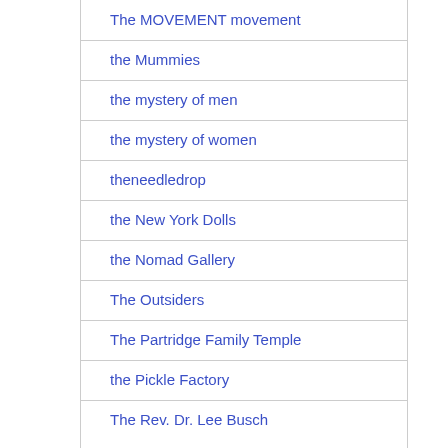The MOVEMENT movement
the Mummies
the mystery of men
the mystery of women
theneedledrop
the New York Dolls
the Nomad Gallery
The Outsiders
The Partridge Family Temple
the Pickle Factory
The Rev. Dr. Lee Busch